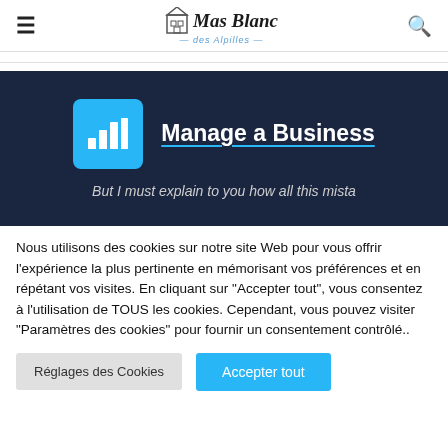Mas Blanc des Alpilles
[Figure (screenshot): Dark navy banner with a blue icon box showing bar chart icon on the left, and bold white underlined text 'Manage a Business' on the right. Below: italic text 'But I must explain to you how all this mista']
Nous utilisons des cookies sur notre site Web pour vous offrir l'expérience la plus pertinente en mémorisant vos préférences et en répétant vos visites. En cliquant sur "Accepter tout", vous consentez à l'utilisation de TOUS les cookies. Cependant, vous pouvez visiter "Paramètres des cookies" pour fournir un consentement contrôlé..
Réglages des Cookies    Accepter tout